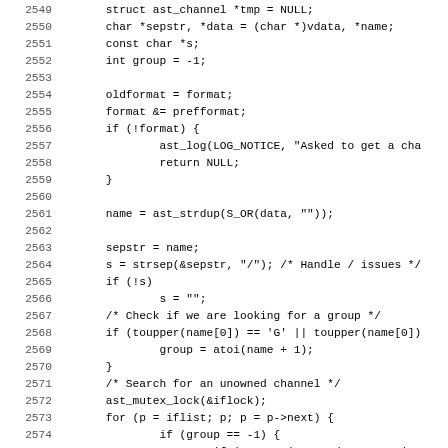[Figure (other): Source code listing in C showing lines 2549-2581 of a file, with line numbers on the left and code on the right. The code deals with channel lookup logic including struct declarations, string parsing, mutex locking, and a for loop iterating over an interface list.]